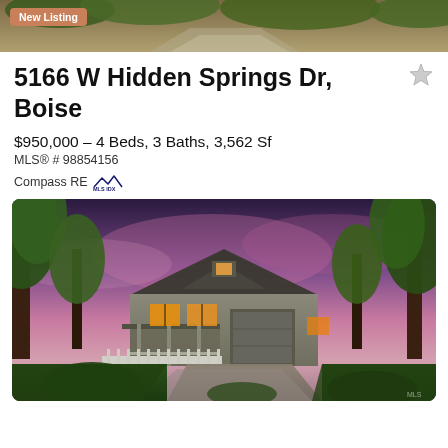[Figure (photo): Top portion of exterior aerial/driveway photo of the property, showing trees and driveway]
New Listing
5166 W Hidden Springs Dr, Boise
$950,000 – 4 Beds, 3 Baths, 3,562 Sf
MLS® # 98854156
Compass RE [MLS IDX logo]
[Figure (photo): Exterior twilight photo of the property at 5166 W Hidden Springs Dr, Boise — a single-story/1.5-story farmhouse-style home surrounded by large trees, with a circular driveway, front porch, garage, and warm interior lighting against a purple-pink dusk sky]